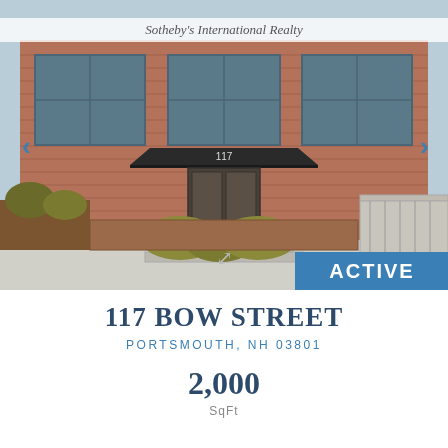[Figure (photo): Exterior photograph of brick commercial building at 117 Bow Street, Portsmouth NH, showing large windows, black awning over entrance, landscaped bushes in foreground, with navigation arrows and ACTIVE badge overlay]
117 BOW STREET
PORTSMOUTH, NH 03801
2,000
SqFt